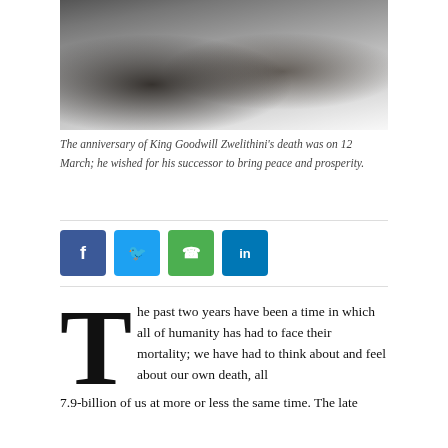Mail&Guardian
[Figure (photo): Photograph of King Goodwill Zwelithini and others at a public event, partially obscured]
The anniversary of King Goodwill Zwelithini's death was on 12 March; he wished for his successor to bring peace and prosperity.
[Figure (infographic): Social media share buttons: Facebook, Twitter, WhatsApp, LinkedIn]
The past two years have been a time in which all of humanity has had to face their mortality; we have had to think about and feel about our own death, all 7.9-billion of us at more or less the same time. The late